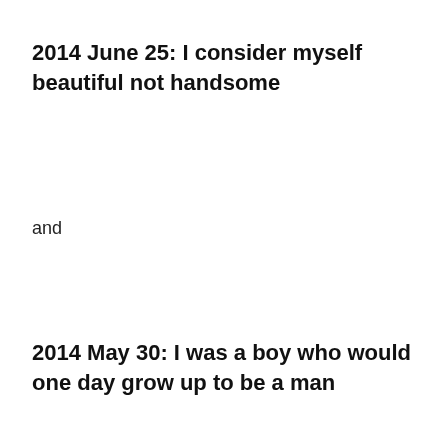2014 June 25: I consider myself beautiful not handsome
and
2014 May 30: I was a boy who would one day grow up to be a man